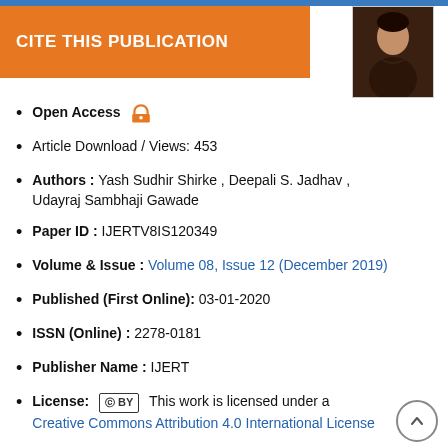CITE THIS PUBLICATION
[Figure (photo): Author portrait photo — young man in dark shirt]
Open Access [open access icon]
Article Download / Views: 453
Authors : Yash Sudhir Shirke , Deepali S. Jadhav , Udayraj Sambhaji Gawade
Paper ID : IJERTV8IS120349
Volume & Issue : Volume 08, Issue 12 (December 2019)
Published (First Online): 03-01-2020
ISSN (Online) : 2278-0181
Publisher Name : IJERT
License: [CC BY] This work is licensed under a Creative Commons Attribution 4.0 International License